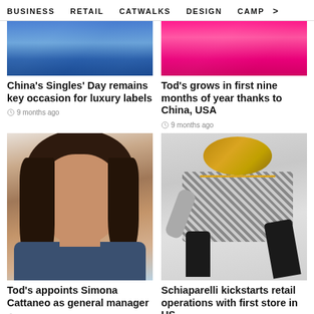BUSINESS  RETAIL  CATWALKS  DESIGN  CAMP >
[Figure (photo): Blue-toned banner image, top of article about China's Singles' Day]
China's Singles' Day remains key occasion for luxury labels
9 months ago
[Figure (photo): Hot pink/magenta banner image, top of article about Tod's growth]
Tod's grows in first nine months of year thanks to China, USA
9 months ago
[Figure (photo): Portrait photo of a woman with dark brown hair smiling, Simona Cattaneo]
Tod's appoints Simona Cattaneo as general manager
10 months ago
[Figure (photo): Fashion photo of a model wearing a houndstooth check blazer, gold accessories and black boots, seated]
Schiaparelli kickstarts retail operations with first store in US
10 months ago